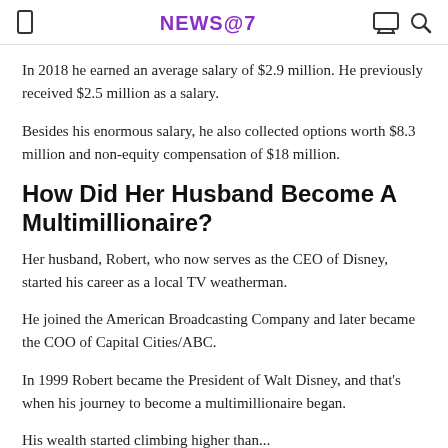NEWS@7
In 2018 he earned an average salary of $2.9 million. He previously received $2.5 million as a salary.
Besides his enormous salary, he also collected options worth $8.3 million and non-equity compensation of $18 million.
How Did Her Husband Become A Multimillionaire?
Her husband, Robert, who now serves as the CEO of Disney, started his career as a local TV weatherman.
He joined the American Broadcasting Company and later became the COO of Capital Cities/ABC.
In 1999 Robert became the President of Walt Disney, and that's when his journey to become a multimillionaire began.
His wealth started climbing higher than...